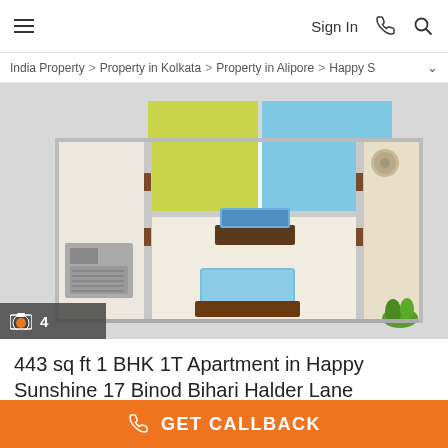≡  Sign In  ☎  🔍
India Property > Property in Kolkata > Property in Alipore > Happy S
[Figure (illustration): 3D floor plan rendering of a 1 BHK apartment showing living room, bedroom, kitchen and bathroom layout with colored walls (yellow-green and blue). A TV unit with screen, furniture, and plants are visible. Image count badge shows camera icon and '4'.]
443 sq ft 1 BHK 1T Apartment in Happy Sunshine 17 Binod Bihari Halder Lane
GET CALLBACK